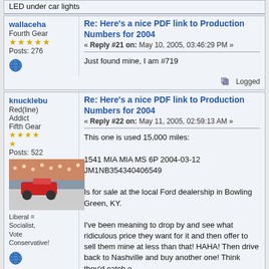LED under car lights
wallaceha — Re: Here's a nice PDF link to Production Numbers for 2004 — Reply #21 on: May 10, 2005, 03:46:29 PM
Just found mine, I am #719
knucklebu — Re: Here's a nice PDF link to Production Numbers for 2004 — Reply #22 on: May 11, 2005, 02:59:13 AM
This one is used 15,000 miles:
1541 MIA MIA MS 6P 2004-03-12
JM1NB354340406549

Is for sale at the local Ford dealership in Bowling Green, KY.

I've been meaning to drop by and see what ridiculous price they want for it and then offer to sell them mine at less than that! HAHA! Then drive back to Nashville and buy another one! Think they'd catch o...